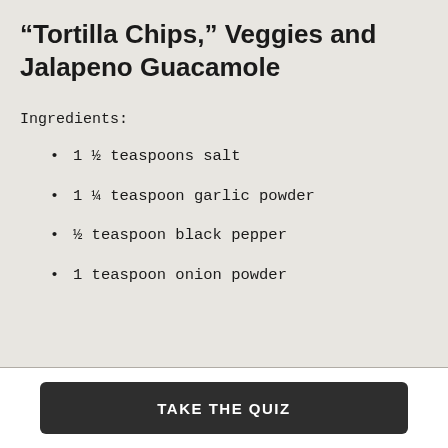“Tortilla Chips,” Veggies and Jalapeno Guacamole
Ingredients:
1 ½ teaspoons salt
1 ¼ teaspoon garlic powder
½ teaspoon black pepper
1 teaspoon onion powder
TAKE THE QUIZ